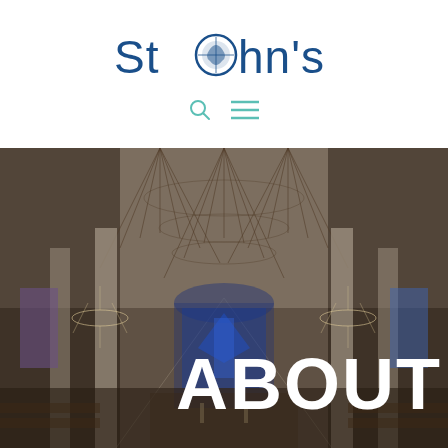St John's
[Figure (photo): Interior of a grand church with fan-vaulted ceiling, tall white columns, ornate chandeliers, stained glass windows, and a blue decorated altar arch at the far end. The image has a dark overlay.]
ABOUT